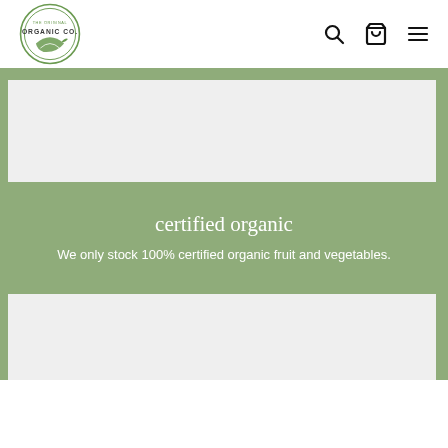THE ORIGINAL ORGANIC CO. [logo] [search] [cart] [menu]
[Figure (photo): Product or content image placeholder with light grey background inside green border frame]
certified organic
We only stock 100% certified organic fruit and vegetables.
[Figure (photo): Second product or content image placeholder with light grey background inside green border frame]